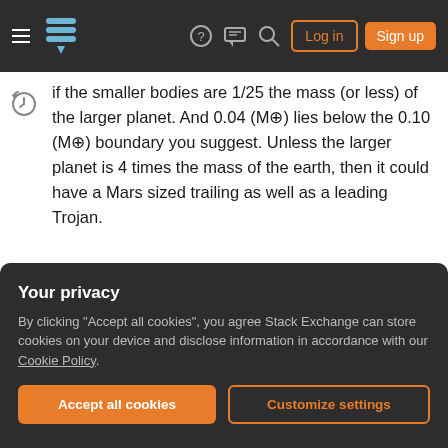Stack Exchange navigation bar with hamburger menu, logo, help, chat, search icons, Log in and Sign up buttons
if the smaller bodies are 1/25 the mass (or less) of the larger planet. And 0.04 (M⊕) lies below the 0.10 (M⊕) boundary you suggest. Unless the larger planet is 4 times the mass of the earth, then it could have a Mars sized trailing as well as a leading Trojan.
Would a planet 4 times earth's mass destabilize the other planets within the habitable Goldilocks zone? Sorry, I don't know. If a super earth is possible, I could see a super earth with two Mars sized trojans
Your privacy
By clicking "Accept all cookies", you agree Stack Exchange can store cookies on your device and disclose information in accordance with our Cookie Policy.
Accept all cookies
Customize settings
possible. I believe this is true.